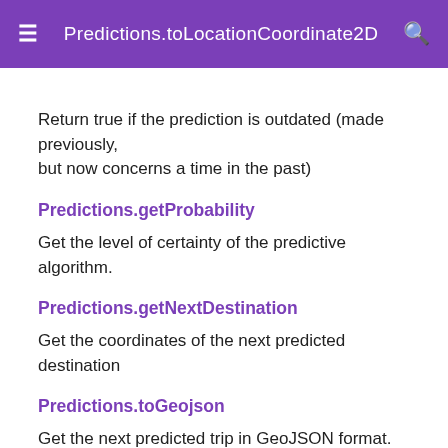Predictions.toLocationCoordinate2D
Return true if the prediction is outdated (made previously, but now concerns a time in the past)
Predictions.getProbability
Get the level of certainty of the predictive algorithm.
Predictions.getNextDestination
Get the coordinates of the next predicted destination
Predictions.toGeojson
Get the next predicted trip in GeoJSON format.
Predictions.toLocations
Get the next trip in the form of a Location array.